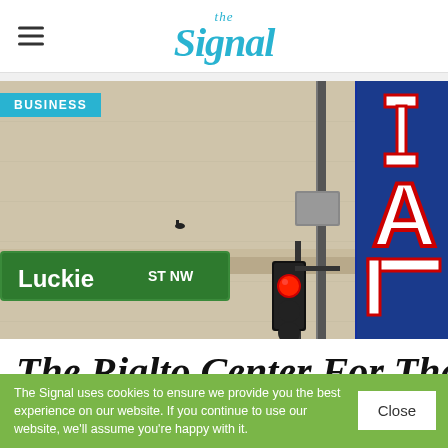the Signal
[Figure (photo): Street-level photo showing a green street sign reading 'Luckie ST NW', a red traffic light, and a large blue vertical sign with red-outlined white letters 'I A L I' (part of 'RIALTO'), against a beige building facade.]
BUSINESS
The Rialto Center For The
The Signal uses cookies to ensure we provide you the best experience on our website. If you continue to use our website, we'll assume you're happy with it.